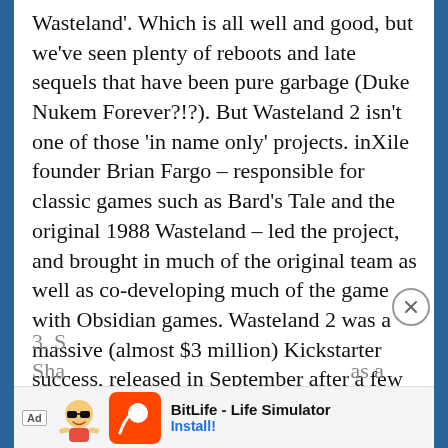Wasteland'. Which is all well and good, but we've seen plenty of reboots and late sequels that have been pure garbage (Duke Nukem Forever?!?). But Wasteland 2 isn't one of those 'in name only' projects. inXile founder Brian Fargo – responsible for classic games such as Bard's Tale and the original 1988 Wasteland – led the project, and brought in much of the original team as well as co-developing much of the game with Obsidian games. Wasteland 2 was a massive (almost $3 million) Kickstarter success, released in September after a few delays. It was worth the wait (and the couple of post-launch patches), as it is a tremendous game, epic in scope and realization.
3. S[hidden]... Sha[hidden]... as a
[Figure (screenshot): Advertisement banner for BitLife - Life Simulator app with close button overlay. Shows Ad badge, cartoon character, BitLife logo on red background, app title 'BitLife - Life Simulator', and Install button.]